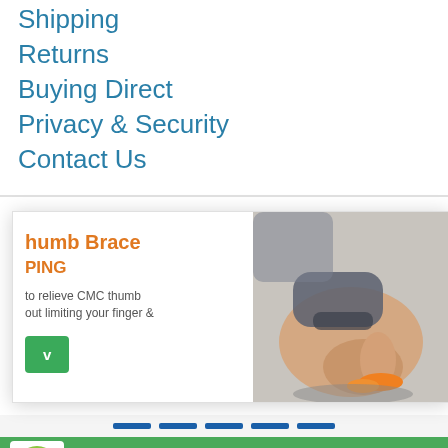Shipping
Returns
Buying Direct
Privacy & Security
Contact Us
[Figure (screenshot): A popup modal advertising a Thumb Brace product with free shipping, showing a hand wearing a thumb brace while slicing carrots. Modal has an orange title, green button, and an X close button.]
Enjoy 10% off Your Order!